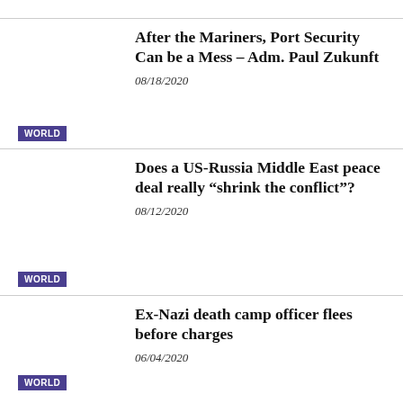After the Mariners, Port Security Can be a Mess – Adm. Paul Zukunft
08/18/2020
WORLD
Does a US-Russia Middle East peace deal really “shrink the conflict”?
08/12/2020
WORLD
Ex-Nazi death camp officer flees before charges
06/04/2020
WORLD